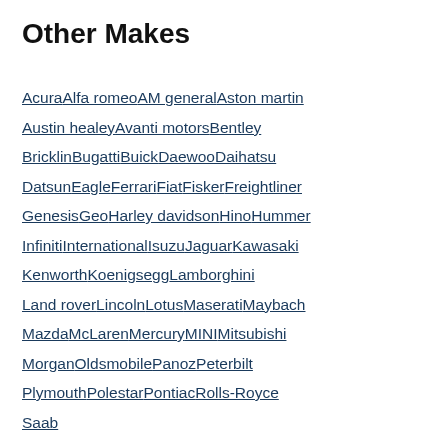Other Makes
Acura Alfa romeo AM general Aston martin Austin healey Avanti motors Bentley Bricklin Bugatti Buick Daewoo Daihatsu Datsun Eagle Ferrari Fiat Fisker Freightliner Genesis Geo Harley davidson Hino Hummer Infiniti International Isuzu Jaguar Kawasaki Kenworth Koenigsegg Lamborghini Land rover Lincoln Lotus Maserati Maybach Mazda McLaren Mercury MINI Mitsubishi Morgan Oldsmobile Panoz Peterbilt Plymouth Polestar Pontiac Rolls-Royce Saab